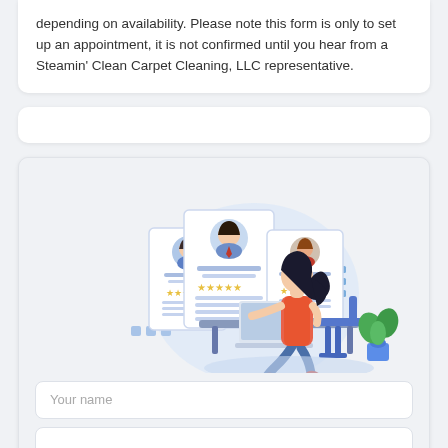depending on availability. Please note this form is only to set up an appointment, it is not confirmed until you hear from a Steamin' Clean Carpet Cleaning, LLC representative.
[Figure (illustration): A flat-style illustration of a woman sitting at a desk using a laptop, with three profile/ID cards shown to the left featuring cartoon avatars, star ratings, and text lines. A plant is visible in the background on the right. Blue decorative dots appear on sides.]
Your name